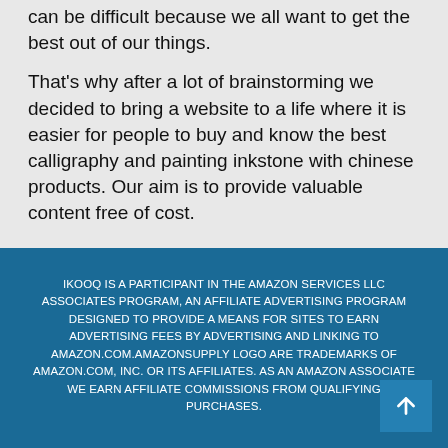can be difficult because we all want to get the best out of our things.
That's why after a lot of brainstorming we decided to bring a website to a life where it is easier for people to buy and know the best calligraphy and painting inkstone with chinese products. Our aim is to provide valuable content free of cost.
IKOOQ IS A PARTICIPANT IN THE AMAZON SERVICES LLC ASSOCIATES PROGRAM, AN AFFILIATE ADVERTISING PROGRAM DESIGNED TO PROVIDE A MEANS FOR SITES TO EARN ADVERTISING FEES BY ADVERTISING AND LINKING TO AMAZON.COM.AMAZONSUPPLY LOGO ARE TRADEMARKS OF AMAZON.COM, INC. OR ITS AFFILIATES. AS AN AMAZON ASSOCIATE WE EARN AFFILIATE COMMISSIONS FROM QUALIFYING PURCHASES.